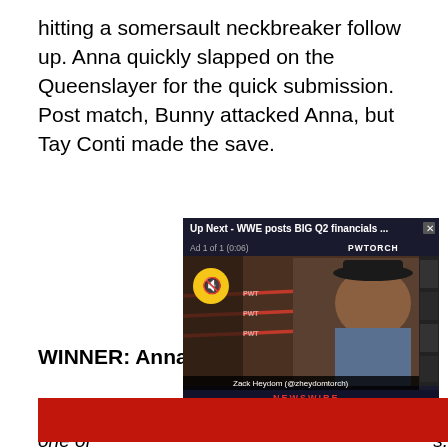hitting a somersault neckbreaker follow up. Anna quickly slapped on the Queenslayer for the quick submission. Post match, Bunny attacked Anna, but Tay Conti made the save.
[Figure (screenshot): Video player popup showing 'Up Next - WWE posts BIG Q2 financials ...' with Ad 1 of 1 (0:06), PWTORCH branding, a muted video with a man (Zack Heydom @zheydomtorch) in a wrestling venue, NEWSWIRE label at bottom]
WINNER: Anna Jay in 1...
(Howard... ...She's one of ...s.